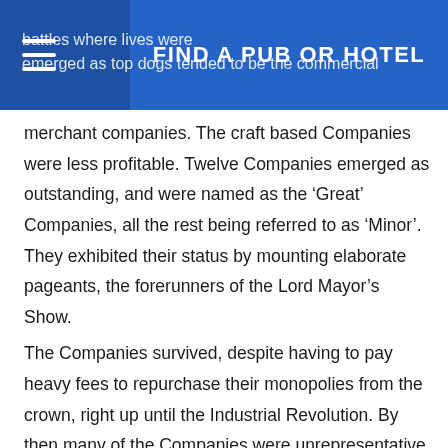FIND A PUB OR HOTEL
battles where lives were... emerged as top dogs tended to be the commercial merchant companies. The craft based Companies were less profitable. Twelve Companies emerged as outstanding, and were named as the ‘Great’ Companies, all the rest being referred to as ‘Minor’. They exhibited their status by mounting elaborate pageants, the forerunners of the Lord Mayor’s Show.
The Companies survived, despite having to pay heavy fees to repurchase their monopolies from the crown, right up until the Industrial Revolution. By then many of the Companies were unrepresentative of their crafts, their membership made up largely of people who had inherited their position, or purchased it, rather than earned